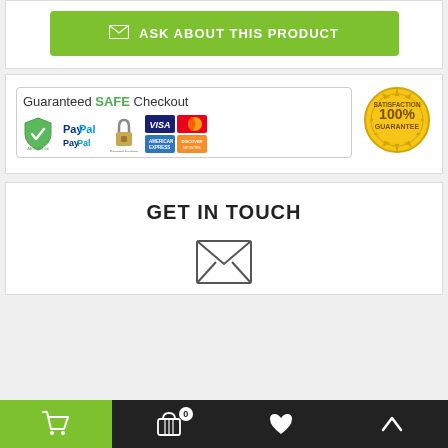[Figure (other): Green button with envelope icon and text ASK ABOUT THIS PRODUCT]
[Figure (other): Guaranteed SAFE Checkout banner with PayPal, Stripe, Visa, Mastercard, Amex, Discover logos and 100% Satisfaction Guarantee badge]
GET IN TOUCH
[Figure (other): Envelope/mail icon]
[Figure (other): Bottom navigation bar with cart (green), basket with 0 badge, heart, and up arrow icons]